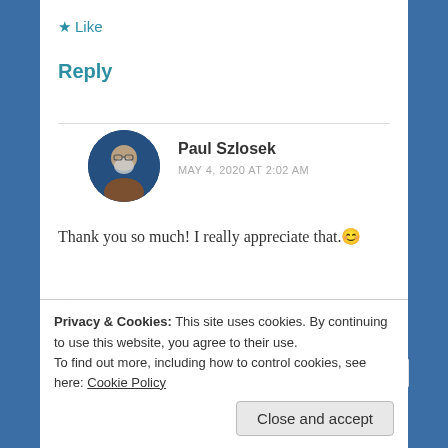★ Like
Reply
Paul Szlosek
MAY 4, 2020 AT 2:02 AM
Thank you so much! I really appreciate that. 😊
★ Liked by 1 person
Reply
Privacy & Cookies: This site uses cookies. By continuing to use this website, you agree to their use.
To find out more, including how to control cookies, see here: Cookie Policy
Close and accept